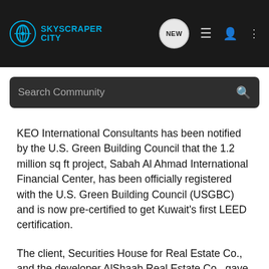SKYSCRAPER CITY
Search Community
KEO International Consultants has been notified by the U.S. Green Building Council that the 1.2 million sq ft project, Sabah Al Ahmad International Financial Center, has been officially registered with the U.S. Green Building Council (USGBC) and is now pre-certified to get Kuwait's first LEED certification.
The client, Securities House for Real Estate Co., and the developer AlShaab Real Estate Co., gave KEO the incentive to pursue a sustainable design using guidelines and tools outlined in the Green Building Rating System in late 2007. In addition to creating an iconic 40 storey tower consisting primarily of high end offices and a hotel, KEO was given the task of achieving a